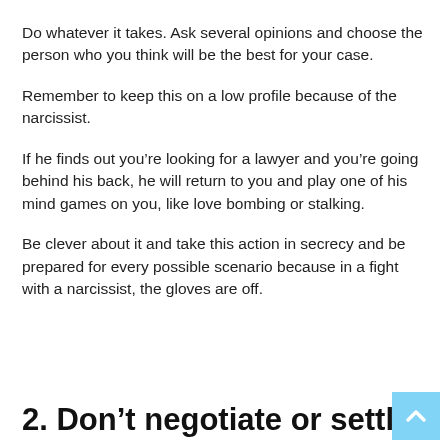Do whatever it takes. Ask several opinions and choose the person who you think will be the best for your case.
Remember to keep this on a low profile because of the narcissist.
If he finds out you're looking for a lawyer and you're going behind his back, he will return to you and play one of his mind games on you, like love bombing or stalking.
Be clever about it and take this action in secrecy and be prepared for every possible scenario because in a fight with a narcissist, the gloves are off.
2. Don't negotiate or settle